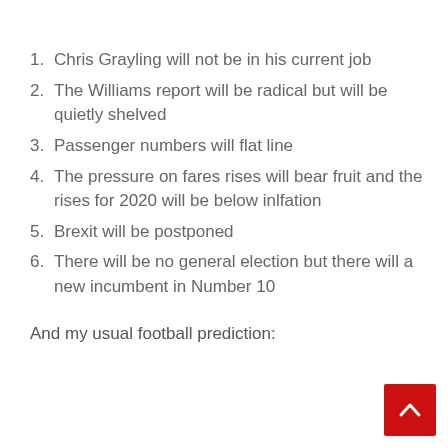1. Chris Grayling will not be in his current job
2. The Williams report will be radical but will be quietly shelved
3. Passenger numbers will flat line
4. The pressure on fares rises will bear fruit and the rises for 2020 will be below inlfation
5. Brexit will be postponed
6. There will be no general election but there will a new incumbent in Number 10
And my usual football prediction: